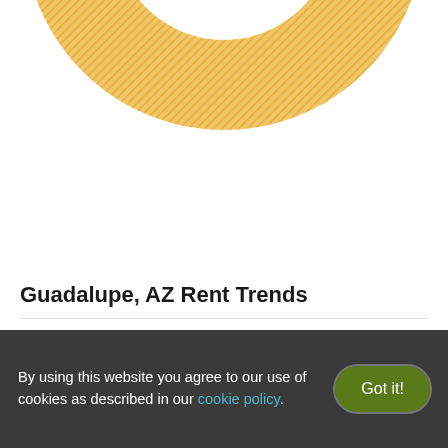[Figure (donut-chart): Partial donut chart in golden/yellow color, cropped at top of page, showing only the lower portion of the ring]
Guadalupe, AZ Rent Trends
Average Rent
$1800
[Figure (line-chart): Partial line chart showing rent trends with orange and dark lines with circular markers, partially visible at bottom of page]
By using this website you agree to our use of cookies as described in our cookie policy.